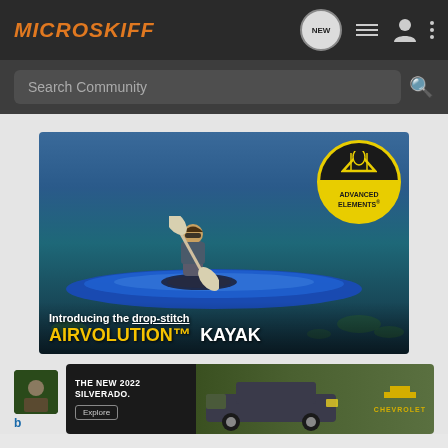MICROSKIFF
Search Community
[Figure (photo): Advertisement for Advanced Elements Airvolution Kayak. Woman paddling a blue inflatable kayak on a calm lake. Advanced Elements circular logo in upper right. Text reads: Introducing the drop-stitch AIRVOLUTION KAYAK]
[Figure (photo): Advertisement for Chevrolet Silverado 2022. Left side dark background with text THE NEW 2022 SILVERADO. and Explore button. Right side shows the truck on grass with Chevrolet logo.]
b...